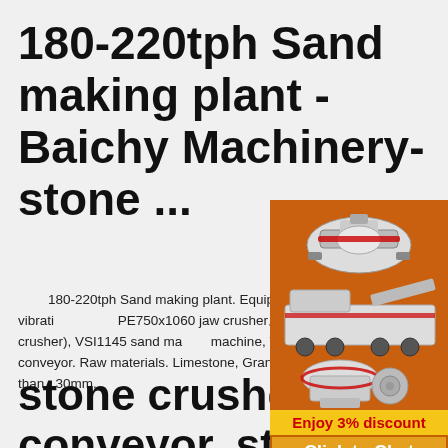180-220tph Sand making plant - Baichy Machinery- stone ...
180-220tph Sand making plant. Equipment configuration. Hopper, ZSW1100x4200 vibrating feeder, PE750x1060 jaw crusher。HPC300/CS220 cone crusher (or impact crusher), VSI1145 sand making machine, Vibrating screen, Sand recycling machine, conveyor. Raw materials. Limestone, Granite, Quartz, River stone etc. Feed Size. less than 630mm.
[Figure (illustration): Orange sidebar advertisement showing industrial stone crushing machinery equipment images - cone crusher, mobile crushing plant, and grinding mill. Contains 'Enjoy 3% discount' yellow bar, 'Click to Chat' orange button, 'Enquiry' section, and email limingjlmofen@sina.com]
stone crusher conveyor, stone